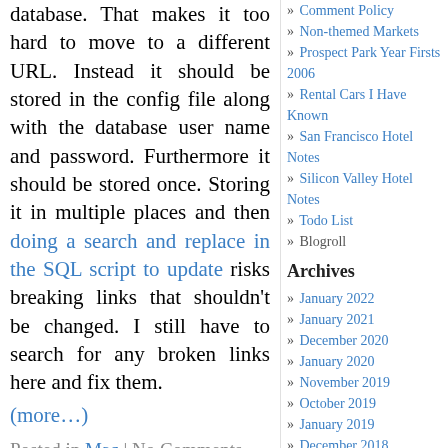database. That makes it too hard to move to a different URL. Instead it should be stored in the config file along with the database user name and password. Furthermore it should be stored once. Storing it in multiple places and then doing a search and replace in the SQL script to update risks breaking links that shouldn't be changed. I still have to search for any broken links here and fix them.
(more…)
Posted in Mac | No Comments
» Comment Policy
» Non-themed Markets
» Prospect Park Year Firsts 2006
» Rental Cars I Have Known
» San Francisco Hotel Notes
» Silicon Valley Hotel Notes
» Todo List
» Blogroll
Archives
» January 2022
» January 2021
» December 2020
» January 2020
» November 2019
» October 2019
» January 2019
» December 2018
» March 2018
» January 2018
» November 2017